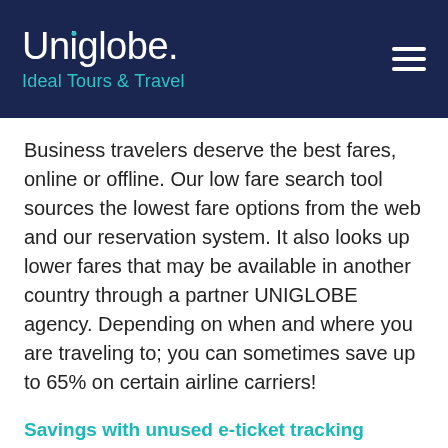[Figure (logo): Uniglobe. Ideal Tours & Travel logo on dark navy background with hamburger menu icon]
Business travelers deserve the best fares, online or offline. Our low fare search tool sources the lowest fare options from the web and our reservation system. It also looks up lower fares that may be available in another country through a partner UNIGLOBE agency. Depending on when and where you are traveling to; you can sometimes save up to 65% on certain airline carriers!
Savings with unused e-ticket tracking
We track, document and advise you of unused e-tickets, turning lost credits into cash flow. In fact,